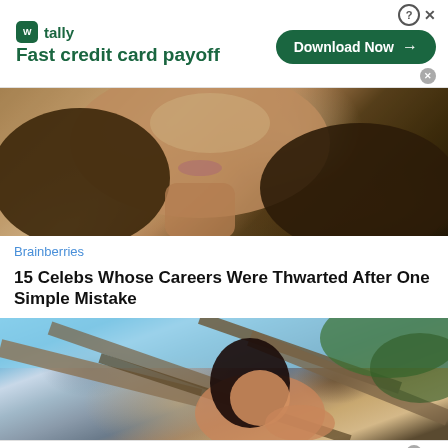[Figure (screenshot): Tally app advertisement banner at top: logo, 'Fast credit card payoff' tagline, and 'Download Now' button with close/help icons]
[Figure (photo): Close-up photo of a woman's face and neck with long wavy brown hair, smiling, blurred green background]
Brainberries
15 Celebs Whose Careers Were Thwarted After One Simple Mistake
[Figure (photo): Photo of a woman with dark hair leaning against large driftwood branches outdoors with blue sky and trees]
[Figure (screenshot): Tally app advertisement banner at bottom: logo, 'Fast credit card payoff' tagline, and 'Download Now' button with close/help icons]